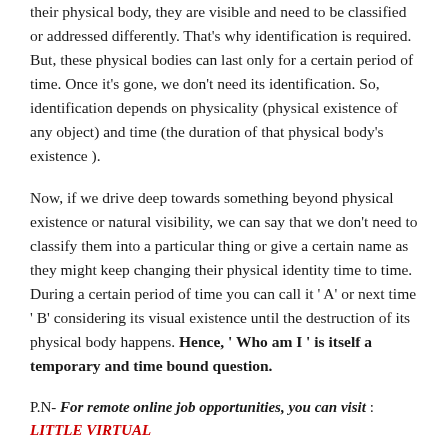their physical body, they are visible and need to be classified or addressed differently. That's why identification is required. But, these physical bodies can last only for a certain period of time. Once it's gone, we don't need its identification. So, identification depends on physicality (physical existence of any object) and time (the duration of that physical body's existence ).
Now, if we drive deep towards something beyond physical existence or natural visibility, we can say that we don't need to classify them into a particular thing or give a certain name as they might keep changing their physical identity time to time. During a certain period of time you can call it ' A' or next time ' B' considering its visual existence until the destruction of its physical body happens. Hence, 'Who am I ' is itself a temporary and time bound question.
P.N- For remote online job opportunities, you can visit : LITTLE VIRTUAL